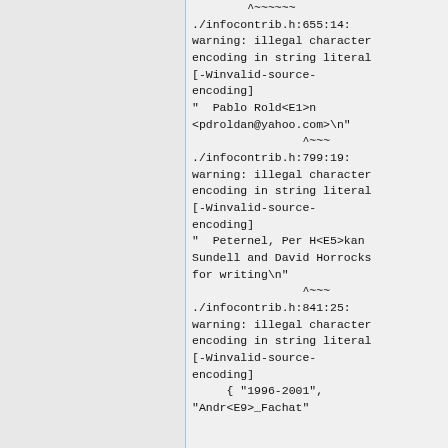^~~~~~~
./infocontrib.h:655:14: warning: illegal character encoding in string literal [-Winvalid-source-encoding]
"  Pablo Rold<E1>n <pdroldan@yahoo.com>\n"
                ^~~~
./infocontrib.h:799:19: warning: illegal character encoding in string literal [-Winvalid-source-encoding]
"  Peternel, Per H<E5>kan Sundell and David Horrocks for writing\n"
                ^~~~
./infocontrib.h:841:25: warning: illegal character encoding in string literal [-Winvalid-source-encoding]
    { "1996-2001", "Andr<E9>_Fachat"